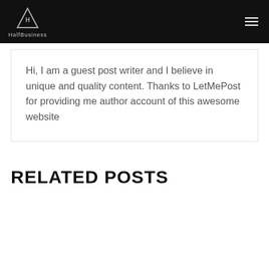HalfBusiness
Hi, I am a guest post writer and I believe in unique and quality content. Thanks to LetMePost for providing me author account of this awesome website
RELATED POSTS